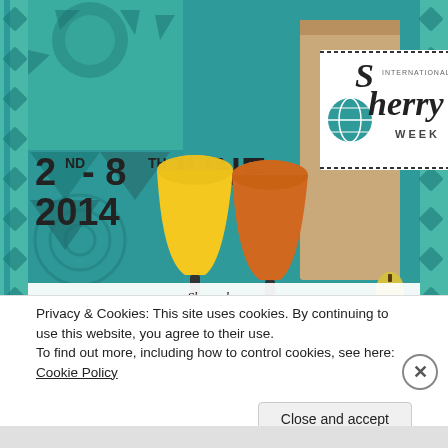[Figure (illustration): International Sherry Week promotional poster illustration. Teal background with decorative quilt-like patterns on sides. Large text '2ND - 8TH JUNE 2014' on left. International Sherry Week logo upper right. Two wine glasses (yellow/amber and orange/amber colored sherry) on a dark tray with a bottle in a paper bag, a small dish with fruit, and stacked plates. Dotted border frames the Sherry Week label area. At the bottom a white banner reads 'Sherry lovers,']
Privacy & Cookies: This site uses cookies. By continuing to use this website, you agree to their use.
To find out more, including how to control cookies, see here: Cookie Policy